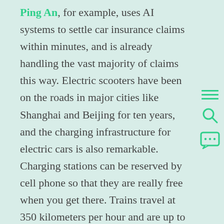Ping An, for example, uses AI systems to settle car insurance claims within minutes, and is already handling the vast majority of claims this way. Electric scooters have been on the roads in major cities like Shanghai and Beijing for ten years, and the charging infrastructure for electric cars is also remarkable. Charging stations can be reserved by cell phone so that they are really free when you get there. Trains travel at 350 kilometers per hour and are up to three times faster than trains in the West. Another example: In Shenzhen and Beijing, 5G is already largely completed, and other cities will soon follow. What takes a lot of
[Figure (other): Three UI icons stacked vertically on the right side: a hamburger menu (three horizontal lines), a search/magnifying glass icon, and a speech bubble with ellipsis (chat icon), all in green (#2ecf8a)]